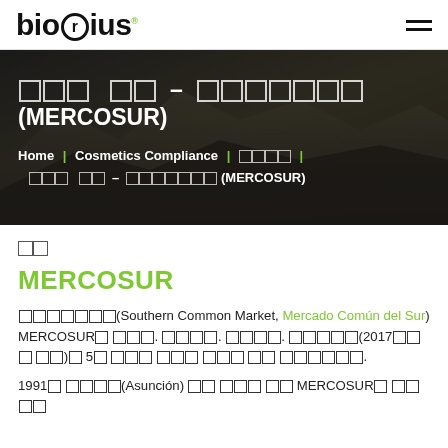biorius [hamburger menu]
[Figure (screenshot): Hero banner with dark mountain/city background showing page title with Japanese/Korean characters – MERCOSUR and breadcrumb navigation]
□□□ □□ – □□□□□□□ (MERCOSUR)
Home | Cosmetics Compliance | □□□□ | □□□ □□ – □□□□□□□ (MERCOSUR)
□□
MERCOSUR
□□□□□□□(Southern Common Market, Mercado Común del Sur) MERCOSUR□ □□□. □□□□□. □□□□. □□□□. □□□□□(2017□□□ □□)□ 5□ □□□ □□□ □□□ □□ □□□□□□.
1991□ □□□□(Asunción) □□ □□□ □□ MERCOSUR□ □□□